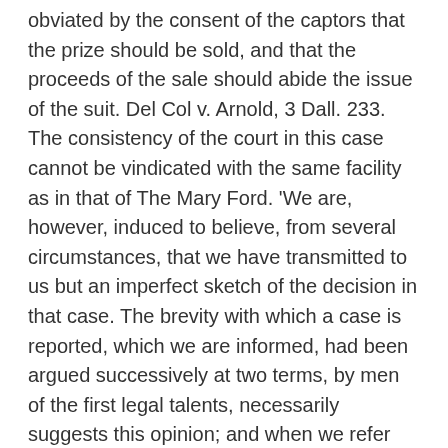obviated by the consent of the captors that the prize should be sold, and that the proceeds of the sale should abide the issue of the suit. Del Col v. Arnold, 3 Dall. 233. The consistency of the court in this case cannot be vindicated with the same facility as in that of The Mary Ford. 'We are, however, induced to believe, from several circumstances, that we have transmitted to us but an imperfect sketch of the decision in that case. The brevity with which a case is reported, which we are informed, had been argued successively at two terms, by men of the first legal talents, necessarily suggests this opinion; and when we refer [17 U.S. 52, 70]  to the case of The Cassius (United States v. Peters), decided but the term preceding, and observe the correctness with which the law applicable to this case, in principle, is laid down in the recitals to the prohibition, we are confirmed in that opinion. But the case itself (that of Del Col v. Arnold) furnishes additional confirmation. There is one view of it in which it is reconcilable to every legal principle. It appears,